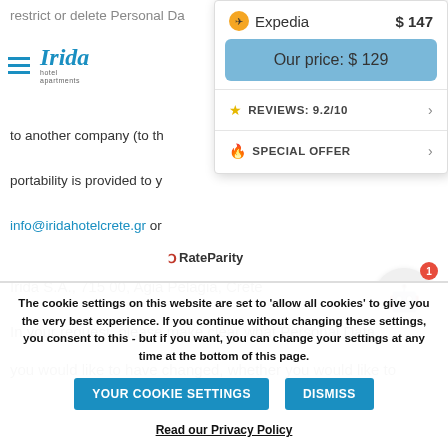restrict or delete Personal Da...
[Figure (screenshot): Irida Hotel Apartments logo with hamburger menu icon]
copy of your Personal Da...
to another company (to th...
portability is provided to y...
info@iridahotelcrete.gr or...
[Figure (screenshot): RateParity price comparison widget showing Expedia $147 and Our price: $129, Reviews 9.2/10 and Special Offer links]
Irida S.A., 715 00, Agia Pelagia, Crete
In your request, please make clear what Personal Data
you would like to have changed, whether you would like to
The cookie settings on this website are set to 'allow all cookies' to give you the very best experience. If you continue without changing these settings, you consent to this - but if you want, you can change your settings at any time at the bottom of this page.
YOUR COOKIE SETTINGS
DISMISS
Read our Privacy Policy